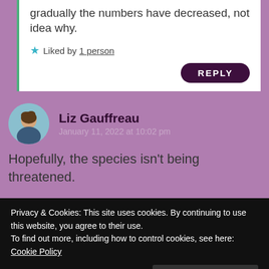gradually the numbers have decreased, not idea why.
Liked by 1 person
REPLY
Liz Gauffreau
January 11, 2022 at 10:02 pm
Hopefully, the species isn't being threatened.
Privacy & Cookies: This site uses cookies. By continuing to use this website, you agree to their use.
To find out more, including how to control cookies, see here: Cookie Policy
Close and accept
January 12, 2022 at 9:31